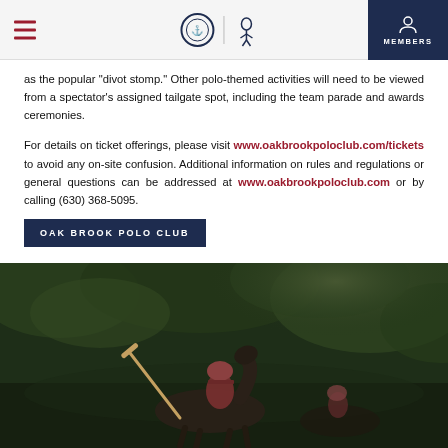Oak Brook Polo Club website header with hamburger menu, logos, and MEMBERS button
as the popular “divot stomp.” Other polo-themed activities will need to be viewed from a spectator’s assigned tailgate spot, including the team parade and awards ceremonies.
For details on ticket offerings, please visit www.oakbrookpoloclub.com/tickets to avoid any on-site confusion. Additional information on rules and regulations or general questions can be addressed at www.oakbrookpoloclub.com or by calling (630) 368-5095.
OAK BROOK POLO CLUB
[Figure (photo): Polo player on horseback holding a mallet, dark green foliage background]